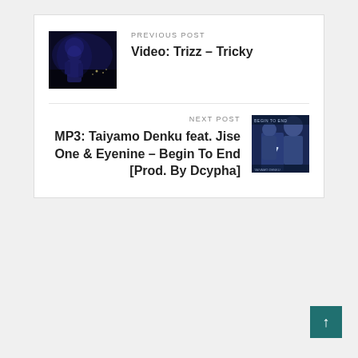PREVIOUS POST
Video: Trizz – Tricky
[Figure (photo): Dark nighttime photo of a person silhouetted in blue light with city lights in background]
NEXT POST
MP3: Taiyamo Denku feat. Jise One & Eyenine – Begin To End [Prod. By Dcypha]
[Figure (photo): Album artwork for Begin To End by Taiyamo Denku featuring two people with blue and white tones, jersey number 57 visible]